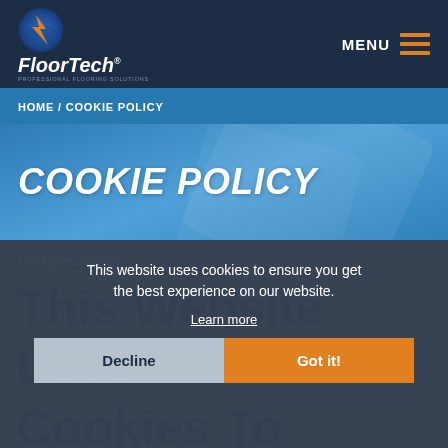[Figure (logo): FloorTech logo with circular blue/orange icon and white italic text]
MENU ≡
HOME / COOKIE POLICY
COOKIE POLICY
Las...
This website uses cookies to ensure you get the best experience on our website.
Learn more
This Website Uses Cookies To Improve The User Experience
Decline
Got it!